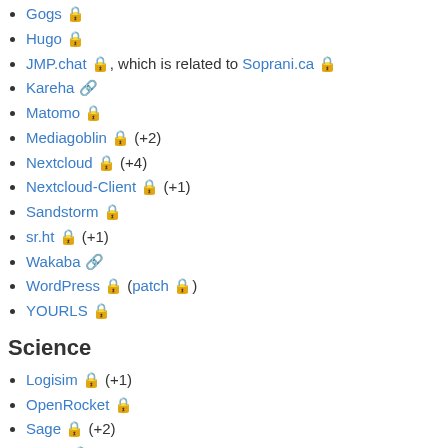Gogs 🔒
Hugo 🔒
JMP.chat 🔒, which is related to Soprani.ca 🔒
Kareha 🔗
Matomo 🔒
Mediagoblin 🔒 (+2)
Nextcloud 🔒 (+4)
Nextcloud-Client 🔒 (+1)
Sandstorm 🔒
sr.ht 🔒 (+1)
Wakaba 🔗
WordPress 🔒 (patch 🔒)
YOURLS 🔒
Science
Logisim 🔒 (+1)
OpenRocket 🔒
Sage 🔒 (+2)
Scilab 🔒
Weka 🔒
XFLR5 🔒
XFOIL 🔒